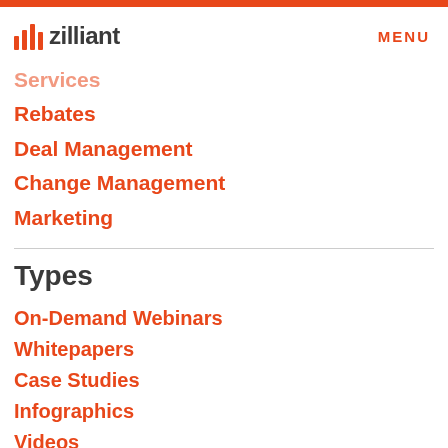zilliant | MENU
Services
Rebates
Deal Management
Change Management
Marketing
Types
On-Demand Webinars
Whitepapers
Case Studies
Infographics
Videos